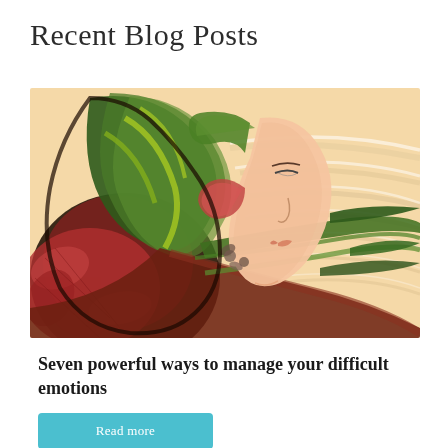Recent Blog Posts
[Figure (illustration): Decorative illustration of a woman's profile with ornate floral and leaf patterns in red, green, and brown colors on a warm peach/cream background, with flowing white lines suggesting wind]
Seven powerful ways to manage your difficult emotions
Read more